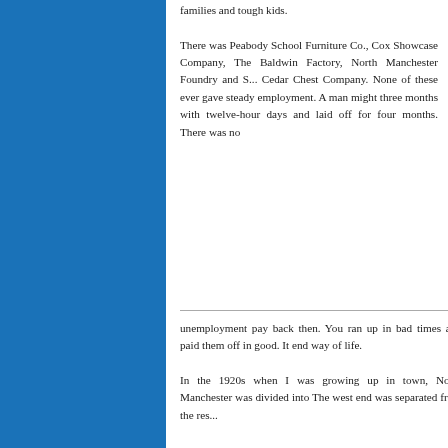families and tough kids.

There was Peabody School Furniture Co., Cox Showcase Company, The Baldwin Factory, North Manchester Foundry and S... Cedar Chest Company. None of these ever gave steady employment. A man might three months with twelve-hour days and laid off for four months. There was no
unemployment pay back then. You ran up in bad times and paid them off in good. It end way of life.

In the 1920s when I was growing up in town, North Manchester was divided into The west end was separated from the res...